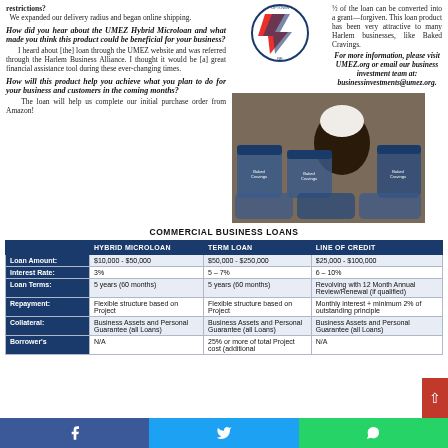restrictions? We expanded our delivery radius and began online shipping.
[Figure (logo): UMEZ Uptown Development Corporation circular logo with red and blue arrow/lightning bolt graphic in center]
½ of the loan can be converted into a grant—forgiven. This loan product has been very attractive to many Harlem businesses, like Baked Cravings.
For more information, please visit UMEZ.org or email our business investment team at: businessinvestments@umez.org.
How did you hear about the UMEZ Hybrid Microloan and what made you think this product could be beneficial for your business?
I heard about [the] loan through the UMEZ website and was referred through the Harlem Business Alliance. I thought it would be [a] great financial assistance tool during these ever-changing times.
How will this product help you achieve what you plan to do for your business and customers in the coming months?
The loan will help us complete our initial purchase order from Amazon!
[Figure (photo): Photo of Baked Cravings product containers and chocolate cupcake]
COMMERCIAL BUSINESS LOANS
|  | HYBRID MICROLOAN | TERM LOAN | LINE OF CREDIT |
| --- | --- | --- | --- |
| Loan Amount: | $10,000 - $50,000 | $50,000 - $250,000 | $25,000 - $100,000 |
| Interest Rate: | 3% | 5 – 7% | 6 – 10% |
| Loan Terms: | 5 years (60 months) | 5 years (60 months) | Revolving with 12 Month Annual Review/Renewal (if qualified) |
| Repayment: | Flexible structure based on Project | Flexible structure based on Project | Monthly interest + minimum 2% of outstanding principle |
| Collateral: | Business Assets and Personal Guarantee (all Loans) | Business Assets and Personal Guarantee (all Loans) | Business Assets and Personal Guarantee (all Loans) |
| Borrower's | N/A | 25% or more of total Project cost (additional) | N/A |